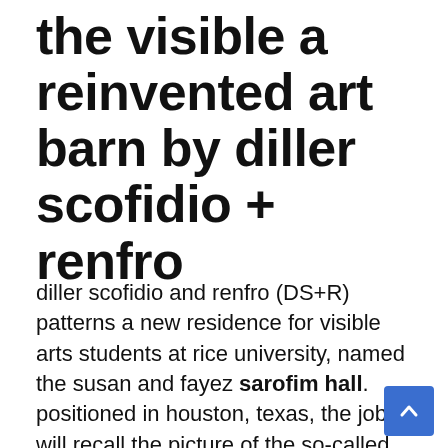the visible a reinvented art barn by diller scofidio + renfro
diller scofidio and renfro (DS+R) patterns a new residence for visible arts students at rice university, named the susan and fayez sarofim hall. positioned in houston, texas, the job will recall the picture of the so-called ‘butler constructing,’ a uncomplicated metal barn composition regarded for its flexibility and longevity. the style staff at DS+R reinvents this airtight developing type by freeing the steel body from its pores and skin to develop an